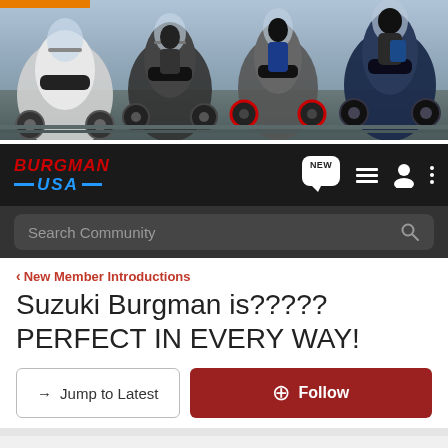[Figure (photo): Banner image showing multiple Suzuki Burgman scooters/motorcycles lined up, shot from a low angle against a road/sky background]
[Figure (logo): Burgman USA forum logo in red italic text with blue USA and blue dashes]
Search Community
< New Member Introductions
Suzuki Burgman is????? PERFECT IN EVERY WAY!
→ Jump to Latest
+ Follow
1 - 7 of 7 Posts